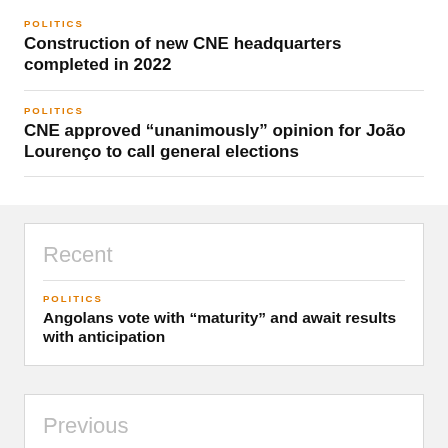POLITICS
Construction of new CNE headquarters completed in 2022
POLITICS
CNE approved “unanimously” opinion for João Lourenço to call general elections
Recent
POLITICS
Angolans vote with “maturity” and await results with anticipation
Previous